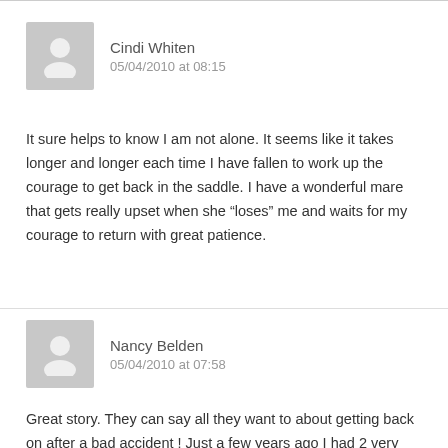Cindi Whiten
05/04/2010 at 08:15
It sure helps to know I am not alone. It seems like it takes longer and longer each time I have fallen to work up the courage to get back in the saddle. I have a wonderful mare that gets really upset when she “loses” me and waits for my courage to return with great patience.
Nancy Belden
05/04/2010 at 07:58
Great story. They can say all they want to about getting back on after a bad accident ! Just a few years ago I had 2 very bad accidents ( in my 60s ) on a new horse I have had horses for